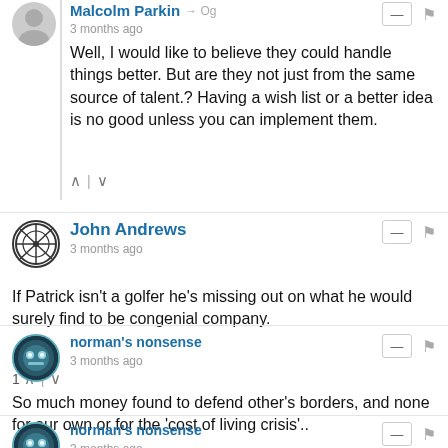Malcolm Parkin → Og
3 months ago
Well, I would like to believe they could handle things better. But are they not just from the same source of talent.? Having a wish list or a better idea is no good unless you can implement them.
John Andrews
3 months ago
If Patrick isn't a golfer he's missing out on what he would surely find to be congenial company.
1 vote
norman's nonsense
3 months ago
So much money found to defend other's borders, and none for our own or for the 'cost of living crisis'..
10 votes
norman's nonsense
3 months ago